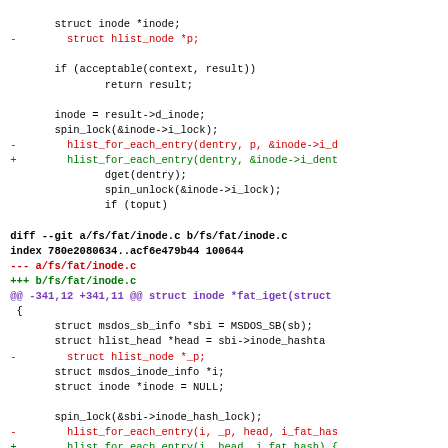Code diff showing changes to Linux kernel filesystem code (dcache and fat/inode.c), including removal of hlist_node *p parameter and related hlist_for_each_entry calls, and addition of updated versions without the extra parameter.